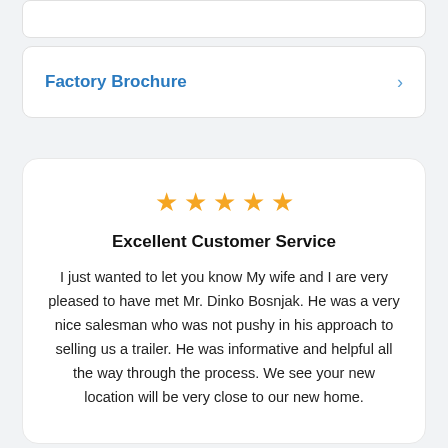Factory Brochure
Excellent Customer Service
I just wanted to let you know My wife and I are very pleased to have met Mr. Dinko Bosnjak. He was a very nice salesman who was not pushy in his approach to selling us a trailer. He was informative and helpful all the way through the process. We see your new location will be very close to our new home.